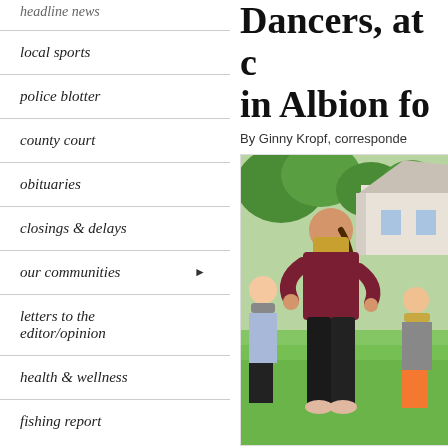headline news
local sports
police blotter
county court
obituaries
closings & delays
our communities ▶
letters to the editor/opinion
health & wellness
fishing report
Dancers, at … in Albion fo…
By Ginny Kropf, corresponde…
[Figure (photo): Women dancing outdoors on grass, wearing masks. A woman in a maroon top and black pants is prominent in the foreground, with other dancers visible behind her. Trees and a house are visible in the background.]